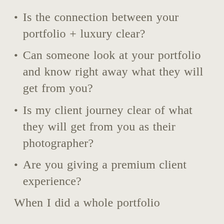Is the connection between your portfolio + luxury clear?
Can someone look at your portfolio and know right away what they will get from you?
Is my client journey clear of what they will get from you as their photographer?
Are you giving a premium client experience?
When I did a whole portfolio